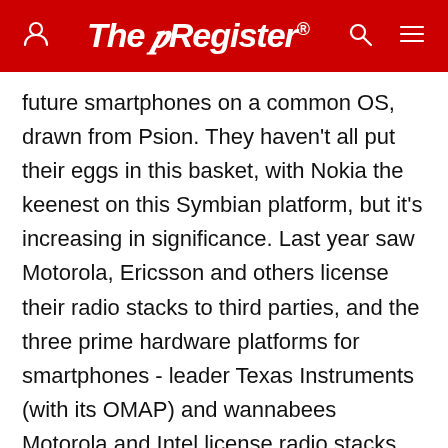The Register
future smartphones on a common OS, drawn from Psion. They haven't all put their eggs in this basket, with Nokia the keenest on this Symbian platform, but it's increasing in significance. Last year saw Motorola, Ericsson and others license their radio stacks to third parties, and the three prime hardware platforms for smartphones - leader Texas Instruments (with its OMAP) and wannabees Motorola and Intel license radio stacks with their hardware. And finally, Nokia, in a dramatic move which redefined the Finnish giant as a "software company", has licensed user interfaces and other goodies, signing Siemens and Matsushita for its Series 60 UI. Meanwhile Motorola has licensed the Symbian UIQ "Thin Quartz" user interface, honed by